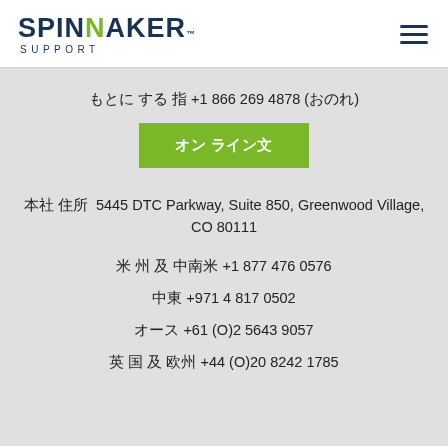[Figure (logo): Spinnaker Support logo with green N and SUPPORT text below]
문의 전화 +1 866 269 4878 (무료)
온라인 문의
본사 주소  5445 DTC Parkway, Suite 850, Greenwood Village, CO 80111
미주 및 중남미 +1 877 476 0576
중동 +971 4 817 0502
호주 +61 (O)2 5643 9057
영국 및 유럽 +44 (O)20 8242 1785